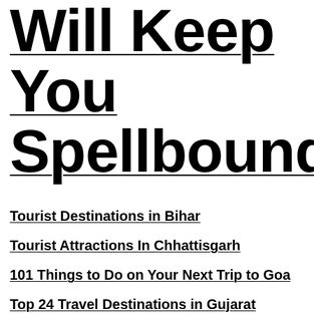Will Keep You Spellbound
Tourist Destinations in Bihar
Tourist Attractions In Chhattisgarh
101 Things to Do on Your Next Trip to Goa
Top 24 Travel Destinations in Gujarat